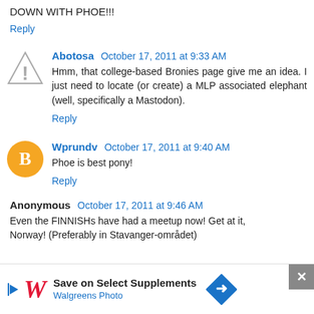DOWN WITH PHOE!!!
Reply
Abotosa October 17, 2011 at 9:33 AM
Hmm, that college-based Bronies page give me an idea. I just need to locate (or create) a MLP associated elephant (well, specifically a Mastodon).
Reply
Wprundv October 17, 2011 at 9:40 AM
Phoe is best pony!
Reply
Anonymous October 17, 2011 at 9:46 AM
Even the FINNISHs have had a meetup now! Get at it, Norway! (Preferably in Stavanger-området)
[Figure (infographic): Walgreens Photo advertisement banner with close button, play button, W logo, text 'Save on Select Supplements' and 'Walgreens Photo', and a blue diamond arrow icon]